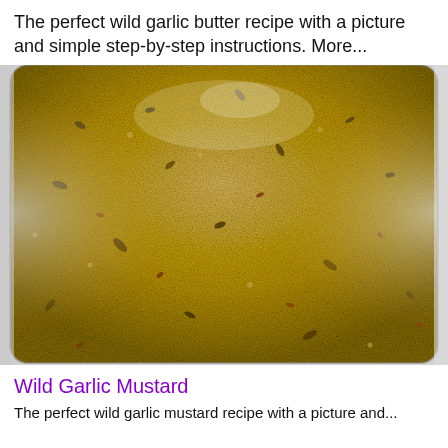The perfect wild garlic butter recipe with a picture and simple step-by-step instructions. More...
[Figure (photo): Close-up photograph of a glass jar filled with wild garlic mustard — a coarse-ground mixture of mustard seeds, herbs and spices in shades of tan, brown, and dark green/red, with visible texture and moisture.]
Wild Garlic Mustard
The perfect wild garlic mustard recipe with a picture and...